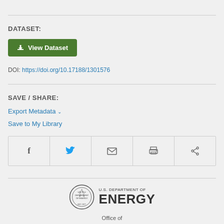DATASET:
[Figure (other): Green 'View Dataset' button with download icon]
DOI: https://doi.org/10.17188/1301576
SAVE / SHARE:
Export Metadata
Save to My Library
[Figure (other): Social sharing bar with Facebook, Twitter, email, print, and share icons]
[Figure (logo): U.S. Department of Energy seal and logo with text 'U.S. DEPARTMENT OF ENERGY']
Office of